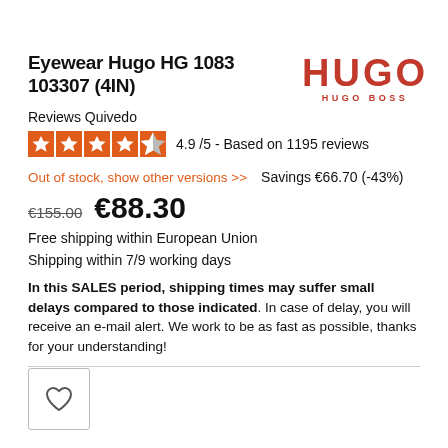Eyewear Hugo HG 1083 103307 (4IN)
[Figure (logo): HUGO HUGO BOSS logo in red]
Reviews Quivedo
[Figure (other): 5 orange star rating icons]
4.9 /5 - Based on 1195 reviews
Out of stock, show other versions >>
Savings €66.70 (-43%)
€155.00  €88.30
Free shipping within European Union
Shipping within 7/9 working days
In this SALES period, shipping times may suffer small delays compared to those indicated. In case of delay, you will receive an e-mail alert. We work to be as fast as possible, thanks for your understanding!
[Figure (illustration): Wishlist heart icon in a square border]